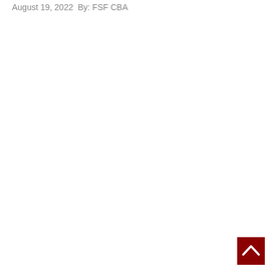August 19, 2022  By: FSF CBA
[Figure (other): Back-to-top navigation button: a dark red square with a white upward-pointing chevron arrow, positioned in the bottom-right corner of the page.]